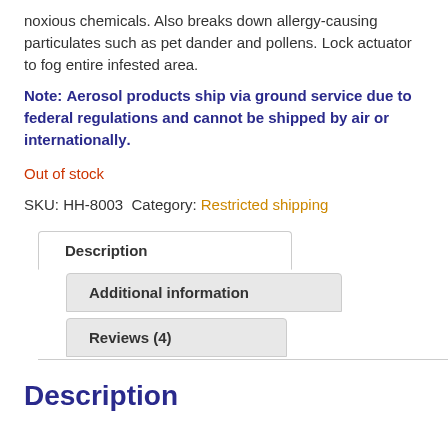noxious chemicals. Also breaks down allergy-causing particulates such as pet dander and pollens. Lock actuator to fog entire infested area.
Note: Aerosol products ship via ground service due to federal regulations and cannot be shipped by air or internationally.
Out of stock
SKU: HH-8003 Category: Restricted shipping
Description
Additional information
Reviews (4)
Description